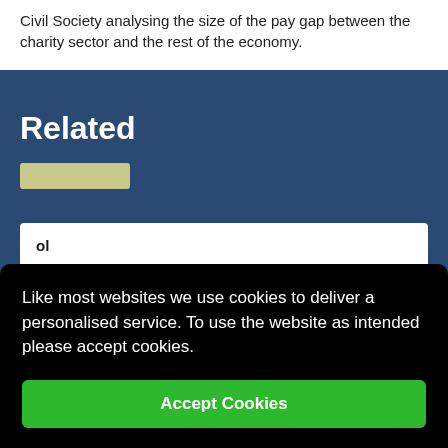Civil Society analysing the size of the pay gap between the charity sector and the rest of the economy.
Related
[tag pill]
...ol
Like most websites we use cookies to deliver a personalised service. To use the website as intended please accept cookies.
Accept Cookies